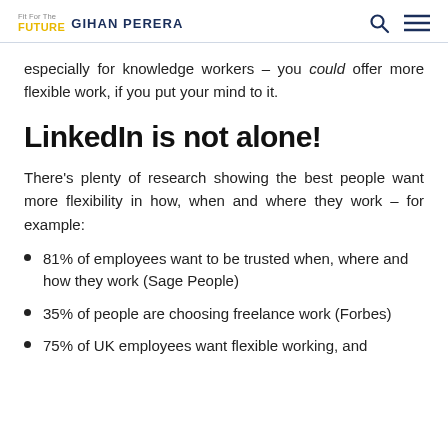Fit For The FUTURE Gihan Perera
especially for knowledge workers – you could offer more flexible work, if you put your mind to it.
LinkedIn is not alone!
There's plenty of research showing the best people want more flexibility in how, when and where they work – for example:
81% of employees want to be trusted when, where and how they work (Sage People)
35% of people are choosing freelance work (Forbes)
75% of UK employees want flexible working, and